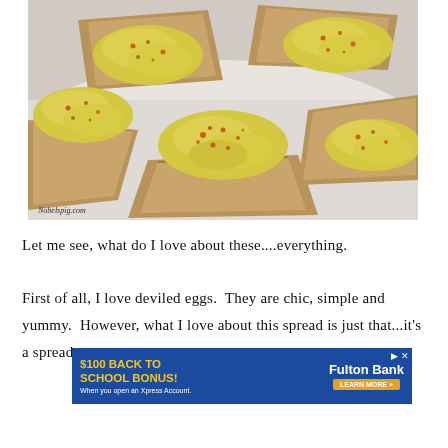[Figure (photo): Close-up photo of deviled egg spread on toast triangles, sprinkled with paprika, on a white background. Watermark reads 'Nobelspig.com' in bottom left.]
Let me see, what do I love about these....everything.

First of all, I love deviled eggs.  They are chic, simple and yummy.  However, what I love about this spread is just that...it's a spread.
[Figure (other): Advertisement banner: '$100 BACK TO SCHOOL BONUS! When you open an Xpress Account.' Fulton Bank logo with 'LEARN MORE' button.]